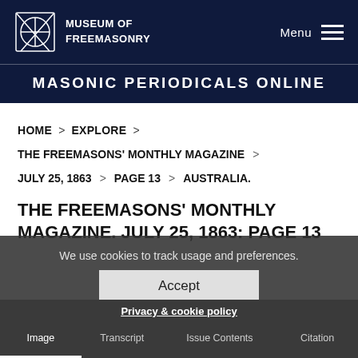MUSEUM OF FREEMASONRY
MASONIC PERIODICALS ONLINE
HOME > EXPLORE >
THE FREEMASONS' MONTHLY MAGAZINE >
JULY 25, 1863 > PAGE 13 > AUSTRALIA.
THE FREEMASONS' MONTHLY MAGAZINE. JULY 25, 1863: PAGE 13
We use cookies to track usage and preferences.
Accept
Image   Transcript   Issue Contents   Citation
Privacy & cookie policy